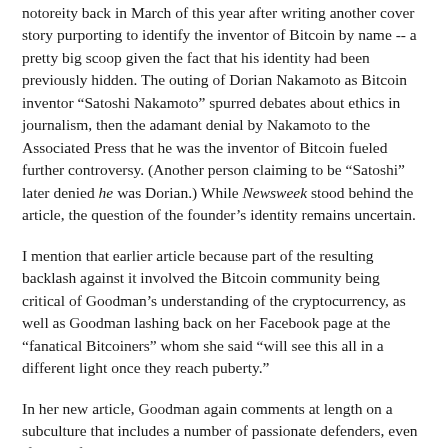notoreity back in March of this year after writing another cover story purporting to identify the inventor of Bitcoin by name -- a pretty big scoop given the fact that his identity had been previously hidden. The outing of Dorian Nakamoto as Bitcoin inventor “Satoshi Nakamoto” spurred debates about ethics in journalism, then the adamant denial by Nakamoto to the Associated Press that he was the inventor of Bitcoin fueled further controversy. (Another person claiming to be “Satoshi” later denied he was Dorian.) While Newsweek stood behind the article, the question of the founder’s identity remains uncertain.
I mention that earlier article because part of the resulting backlash against it involved the Bitcoin community being critical of Goodman’s understanding of the cryptocurrency, as well as Goodman lashing back on her Facebook page at the “fanatical Bitcoiners” whom she said “will see this all in a different light once they reach puberty.”
In her new article, Goodman again comments at length on a subculture that includes a number of passionate defenders, even if none of them is represented in her piece.